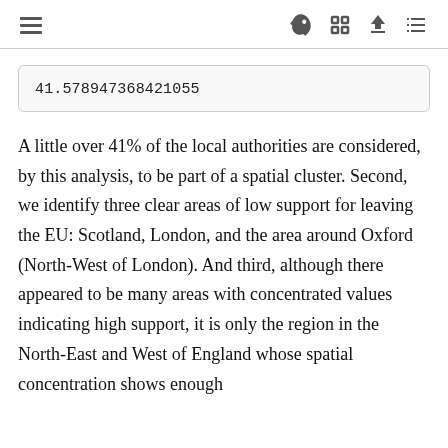≡  🚀  ⛶  ⬇  ≡
A little over 41% of the local authorities are considered, by this analysis, to be part of a spatial cluster. Second, we identify three clear areas of low support for leaving the EU: Scotland, London, and the area around Oxford (North-West of London). And third, although there appeared to be many areas with concentrated values indicating high support, it is only the region in the North-East and West of England whose spatial concentration shows enough